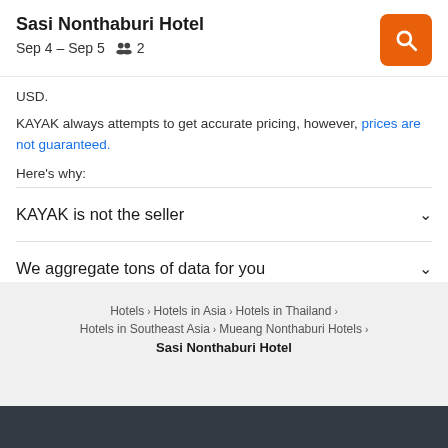Sasi Nonthaburi Hotel – Sep 4 – Sep 5 – 2 guests
USD.
KAYAK always attempts to get accurate pricing, however, prices are not guaranteed.
Here's why:
KAYAK is not the seller
We aggregate tons of data for you
Why aren't prices 100% accurate?
Hotels > Hotels in Asia > Hotels in Thailand > Hotels in Southeast Asia > Mueang Nonthaburi Hotels > Sasi Nonthaburi Hotel